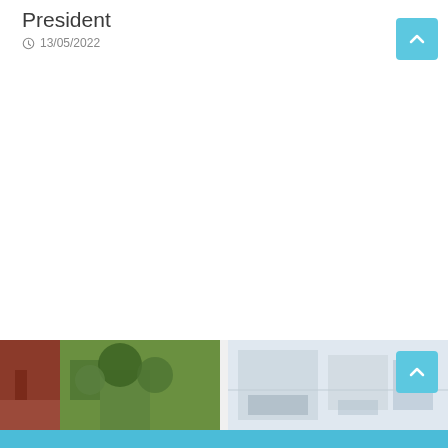President
13/05/2022
[Figure (photo): Two photos partially visible at the bottom of the page: left photo shows a brick wall area with green plants/foliage; right photo shows an interior with light-colored walls and furniture.]